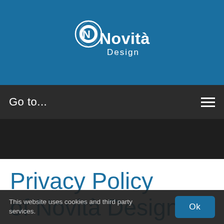[Figure (logo): Novità Design logo: stylized white ND monogram with infinity-like shape, text 'Novità' in bold white and 'Design' in lighter white below, on blue background]
Go to...
Privacy Policy of Novità Design
Novità Design operates
This website uses cookies and third party services.